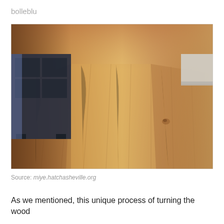bolleblu
[Figure (photo): Close-up photograph of wide-plank hardwood flooring showing natural wood grain and texture. A dark wooden piece of furniture is visible in the upper left corner. The floor shows warm golden-brown tones with wood grain patterns running lengthwise.]
Source: miye.hatchasheville.org
As we mentioned, this unique process of turning the wood